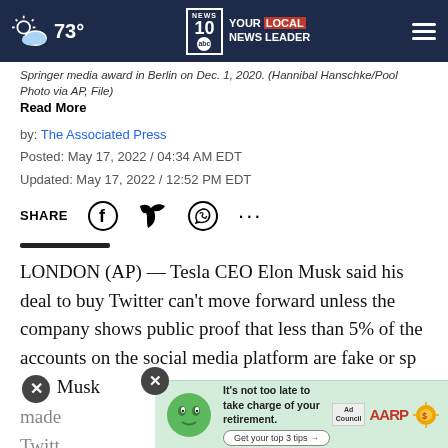73° NEWS10 YOUR LOCAL NEWS LEADER
Springer media award in Berlin on Dec. 1, 2020. (Hannibal Hanschke/Pool Photo via AP, File) Read More
by: The Associated Press
Posted: May 17, 2022 / 04:34 AM EDT
Updated: May 17, 2022 / 12:52 PM EDT
SHARE
LONDON (AP) — Tesla CEO Elon Musk said his deal to buy Twitter can't move forward unless the company shows public proof that less than 5% of the accounts on the social media platform are fake or sp… Musk made… Twitt…